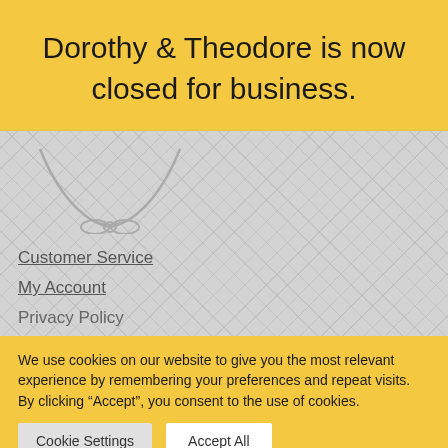Dorothy & Theodore is now closed for business.
[Figure (illustration): Partial illustration of a character with a bow tie, drawn in light grey outline style on a diamond-pattern grey background.]
Customer Service
My Account
Privacy Policy
We use cookies on our website to give you the most relevant experience by remembering your preferences and repeat visits. By clicking “Accept”, you consent to the use of cookies.
Cookie Settings   Accept All